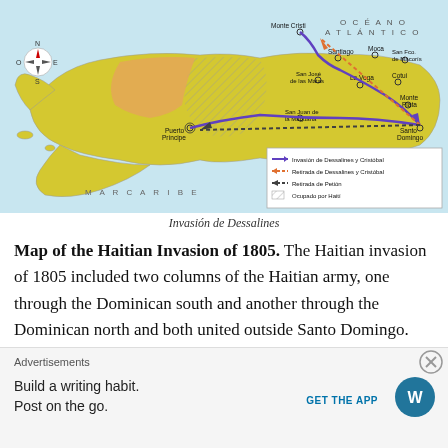[Figure (map): Map of the Hispaniola island showing the Haitian Invasion of 1805. Shows two columns of the Haitian army routes: Invasión de Dessalines y Cristóbal (purple arrow), Retirada de Dessalines y Cristóbal (orange dashed), Retirada de Petión (dark dashed), and Ocupado por Haití (hatched area). Cities labeled include Monte Cristi, Santiago, Moca, San Fco. de Macorís, San José de las Matas, La Vega, Cotui, Monte Plata, Santo Domingo, San Juan de la Maguana, Puerto Príncipe. Bodies of water: OCÉANO ATLÁNTICO, MAR CARIBE.]
Invasión de Dessalines
Map of the Haitian Invasion of 1805. The Haitian invasion of 1805 included two columns of the Haitian army, one through the Dominican south and another through the Dominican north and both united outside Santo Domingo. They submitted a seige on the capital city, but were never able to enter and commit a massacre due to the wall that
Advertisements
Build a writing habit.
Post on the go.
GET THE APP